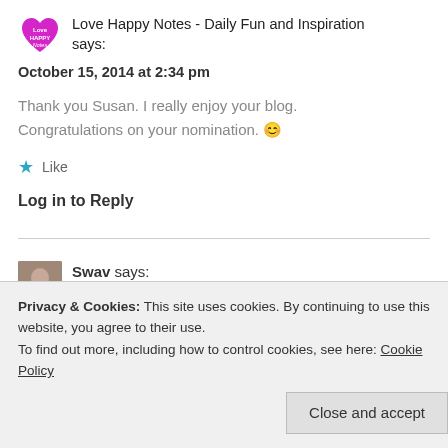[Figure (logo): Pink/magenta heart-shaped avatar with 'Love Happy Notes' text inside]
Love Happy Notes - Daily Fun and Inspiration says:
October 15, 2014 at 2:34 pm
Thank you Susan. I really enjoy your blog. Congratulations on your nomination. 🙂
★ Like
Log in to Reply
[Figure (photo): Small square profile photo of a person, brownish tones]
Swav says:
Privacy & Cookies: This site uses cookies. By continuing to use this website, you agree to their use.
To find out more, including how to control cookies, see here: Cookie Policy
Close and accept